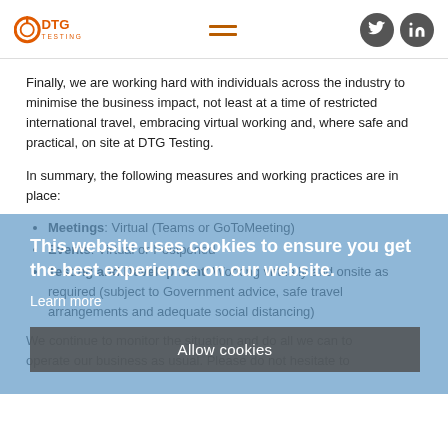DTG Testing logo, hamburger menu, Twitter and LinkedIn social icons
Finally, we are working hard with individuals across the industry to minimise the business impact, not least at a time of restricted international travel, embracing virtual working and, where safe and practical, on site at DTG Testing.
In summary, the following measures and working practices are in place:
Meetings: Virtual (Teams or GoToMeeting)
Events: Virtual or Postponed
Testing and Development: Working virtually and onsite as required (subject to Government advice, safe travel arrangements and adequate social distancing)
This website uses cookies to ensure you get the best experience on our website.
Learn more
Allow cookies
We continue to monitor the situation and do all we can to operate our business as usual. Please do not hesitate to